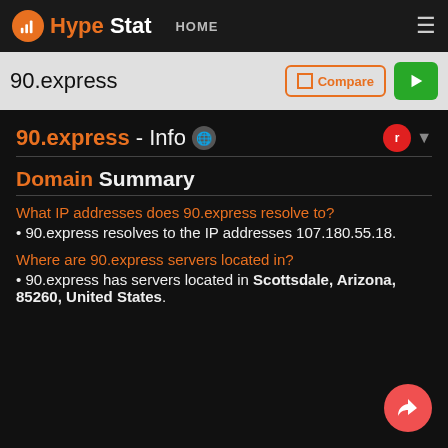HypeStat HOME
90.express
90.express - Info
Domain Summary
What IP addresses does 90.express resolve to?
· 90.express resolves to the IP addresses 107.180.55.18.
Where are 90.express servers located in?
· 90.express has servers located in Scottsdale, Arizona, 85260, United States.